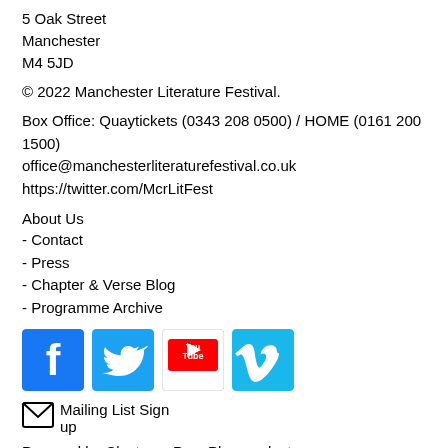5 Oak Street
Manchester
M4 5JD
© 2022 Manchester Literature Festival.
Box Office: Quaytickets (0343 208 0500) / HOME (0161 200 1500)
office@manchesterliteraturefestival.co.uk
https://twitter.com/McrLitFest
About Us
- Contact
- Press
- Chapter & Verse Blog
- Programme Archive
[Figure (logo): Social media icons: Facebook (blue), Twitter (light blue), YouTube (red/white), Vimeo (teal/blue)]
✉ Mailing List Sign up
Powered by Cluster, a PagePlay product.